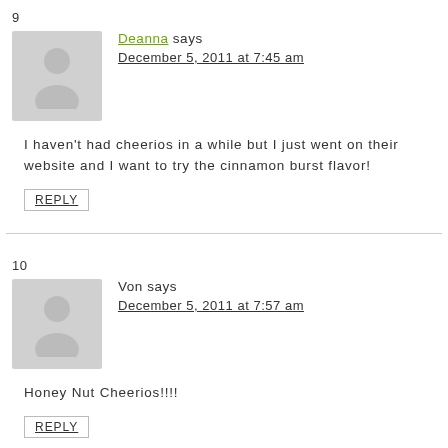9
Deanna says
December 5, 2011 at 7:45 am
I haven't had cheerios in a while but I just went on their website and I want to try the cinnamon burst flavor!
REPLY
10
Von says
December 5, 2011 at 7:57 am
Honey Nut Cheerios!!!!
REPLY